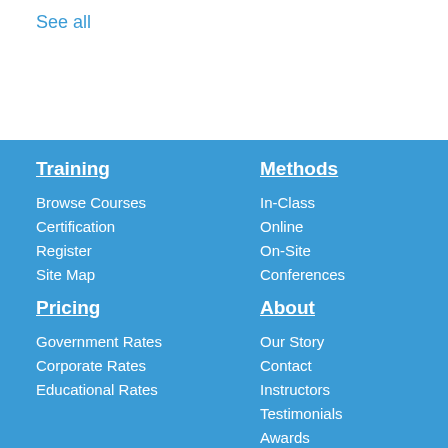See all
Training
Browse Courses
Certification
Register
Site Map
Pricing
Government Rates
Corporate Rates
Educational Rates
Methods
In-Class
Online
On-Site
Conferences
About
Our Story
Contact
Instructors
Testimonials
Awards
News Room
Join Our Team
Partners